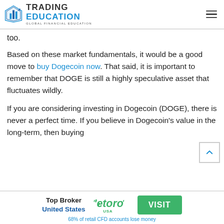TRADING EDUCATION — GLOBAL FINANCIAL EDUCATION
too.
Based on these market fundamentals, it would be a good move to buy Dogecoin now. That said, it is important to remember that DOGE is still a highly speculative asset that fluctuates wildly.
If you are considering investing in Dogecoin (DOGE), there is never a perfect time. If you believe in Dogecoin's value in the long-term, then buying
[Figure (logo): eToro USA logo]
Top Broker United States
VISIT
68% of retail CFD accounts lose money